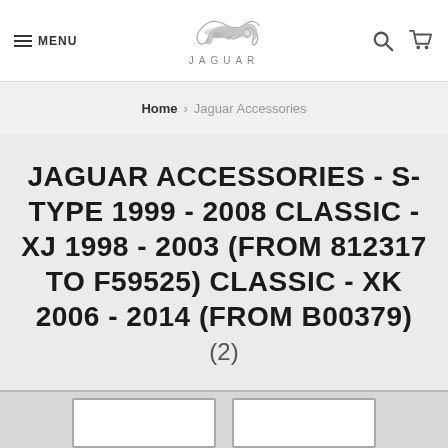MENU | JAGUAR | [search icon] [cart icon]
Home > Jaguar Accessories
JAGUAR ACCESSORIES - S-TYPE 1999 - 2008 CLASSIC - XJ 1998 - 2003 (FROM 812317 TO F59525) CLASSIC - XK 2006 - 2014 (FROM B00379) (2)
[Figure (other): Bottom edge of page showing partial product card stubs]